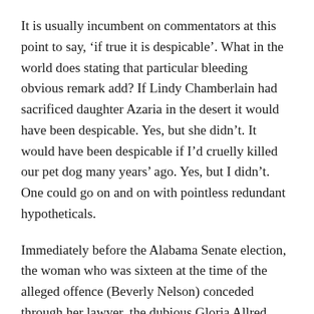It is usually incumbent on commentators at this point to say, ‘if true it is despicable’. What in the world does stating that particular bleeding obvious remark add? If Lindy Chamberlain had sacrificed daughter Azaria in the desert it would have been despicable. Yes, but she didn’t. It would have been despicable if I’d cruelly killed our pet dog many years’ ago. Yes, but I didn’t. One could go on and on with pointless redundant hypotheticals.
Immediately before the Alabama Senate election, the woman who was sixteen at the time of the alleged offence (Beverly Nelson) conceded through her lawyer, the dubious Gloria Allred, that some of the words in her yearbook, supposedly all inscribed by Moore, were, in fact, added later. Is this significant? Maybe, maybe not,